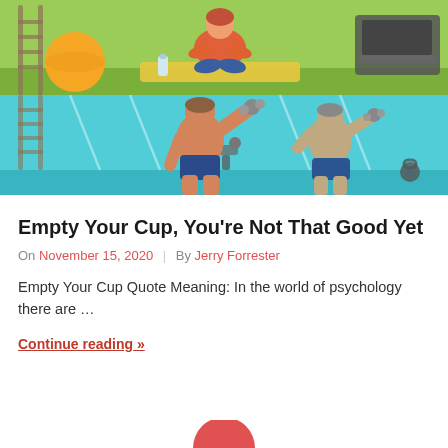[Figure (illustration): Two-panel gym illustration: top panel shows person meditating on yoga mat in green gym setting with exercise ball and treadmill; bottom panel shows two muscular men lifting dumbbells in a gym with mirrors and ladder.]
Empty Your Cup, You’re Not That Good Yet
On November 15, 2020 | By Jerry Forrester
Empty Your Cup Quote Meaning: In the world of psychology there are …
Continue reading »